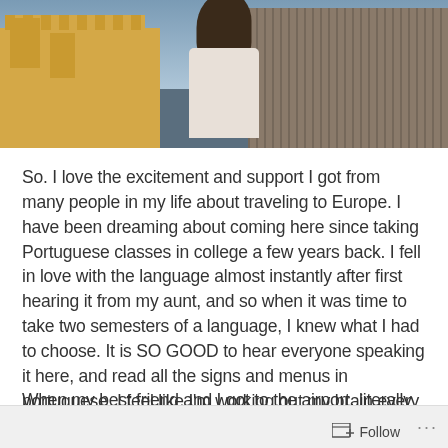[Figure (photo): A person with long dark hair wearing a white shirt, viewed from behind, standing in front of a yellow castle/fortress on the left and an ornate stone building on the right, with a hazy sky background.]
So.  I love the excitement and support I got from many people in my life about traveling to Europe.  I have been dreaming about coming here since taking Portuguese classes in college a few years back.  I fell in love with the language almost instantly after first hearing it from my aunt, and so when it was time to take two semesters of a language, I knew what I had to choose.  It is SO GOOD to hear everyone speaking it here, and read all the signs and menus in portuguese.  I feel like I'm working out my brain every time I try to decipher a conversation on the subway or what the daily specials are.
When my best friend and I got to the airport, literally 30 seconds of walking with our brand new shiny backpacks and I
Follow ...